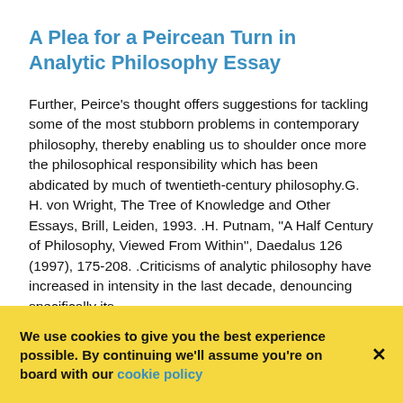A Plea for a Peircean Turn in Analytic Philosophy Essay
Further, Peirce's thought offers suggestions for tackling some of the most stubborn problems in contemporary philosophy, thereby enabling us to shoulder once more the philosophical responsibility which has been abdicated by much of twentieth-century philosophy.G. H. von Wright, The Tree of Knowledge and Other Essays, Brill, Leiden, 1993. .H. Putnam, "A Half Century of Philosophy, Viewed From Within", Daedalus 126 (1997), 175-208. .Criticisms of analytic philosophy have increased in intensity in the last decade, denouncing specifically its
We use cookies to give you the best experience possible. By continuing we'll assume you're on board with our cookie policy